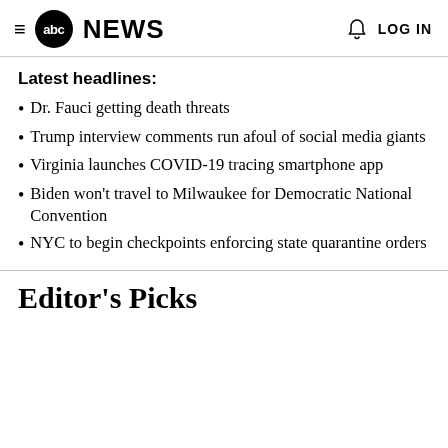abc NEWS   LOG IN
Latest headlines:
Dr. Fauci getting death threats
Trump interview comments run afoul of social media giants
Virginia launches COVID-19 tracing smartphone app
Biden won't travel to Milwaukee for Democratic National Convention
NYC to begin checkpoints enforcing state quarantine orders
Editor's Picks